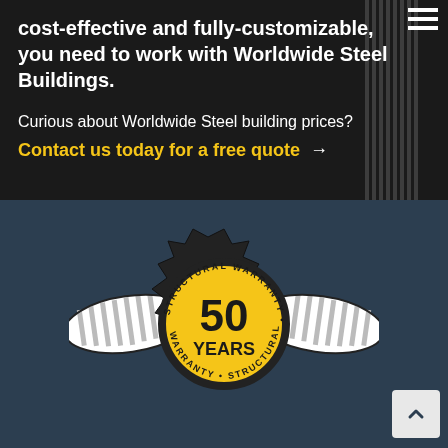cost-effective and fully-customizable, you need to work with Worldwide Steel Buildings.
Curious about Worldwide Steel building prices?
Contact us today for a free quote →
[Figure (logo): 50 Years Structural Warranty badge with wings on dark blue background]